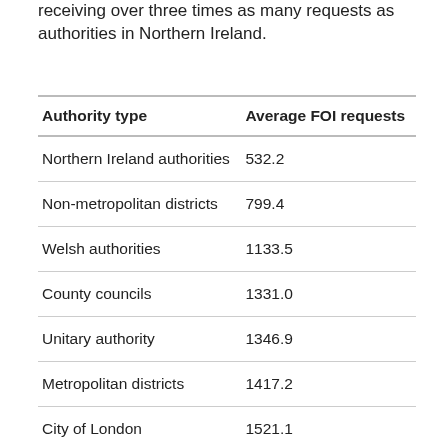receiving over three times as many requests as authorities in Northern Ireland.
| Authority type | Average FOI requests |
| --- | --- |
| Northern Ireland authorities | 532.2 |
| Non-metropolitan districts | 799.4 |
| Welsh authorities | 1133.5 |
| County councils | 1331.0 |
| Unitary authority | 1346.9 |
| Metropolitan districts | 1417.2 |
| City of London | 1521.1 |